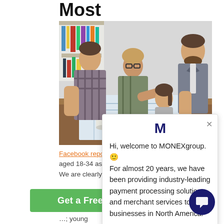Most
[Figure (photo): Office scene with four young professionals leaning over blueprints/drawings on a table, with bookshelves in background]
Facebook reports t… aged 18-34 as havi… We are clearly talki… but or not too … young professionals who are working hard on their
[Figure (screenshot): MONEXgroup chat popup widget with 'M' logo and welcome message: Hi, welcome to MONEXgroup. For almost 20 years, we have been providing industry-leading payment processing solutions and merchant services to businesses in North America.]
Get a Free Quote
[Figure (other): Dark navy circular chat bubble icon button in bottom right corner]